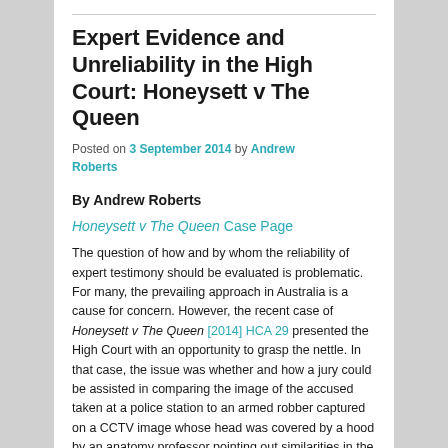Expert Evidence and Unreliability in the High Court: Honeysett v The Queen
Posted on 3 September 2014 by Andrew Roberts
By Andrew Roberts
Honeysett v The Queen Case Page
The question of how and by whom the reliability of expert testimony should be evaluated is problematic. For many, the prevailing approach in Australia is a cause for concern. However, the recent case of Honeysett v The Queen [2014] HCA 29 presented the High Court with an opportunity to grasp the nettle. In that case, the issue was whether and how a jury could be assisted in comparing the image of the accused taken at a police station to an armed robber captured on a CCTV image whose head was covered by a hood by an anatomy professor pointing out similarities in the images and the absence of any